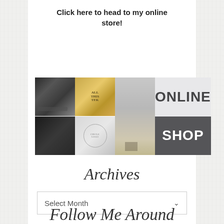Click here to head to my online store!
[Figure (illustration): Online shop banner with photo collage on the left (black-and-white ship, golden book cover, circular logo, dark photo, landscape) and 'ONLINE SHOP' text on the right with light and dark gray backgrounds]
Archives
Select Month
Follow Me Around